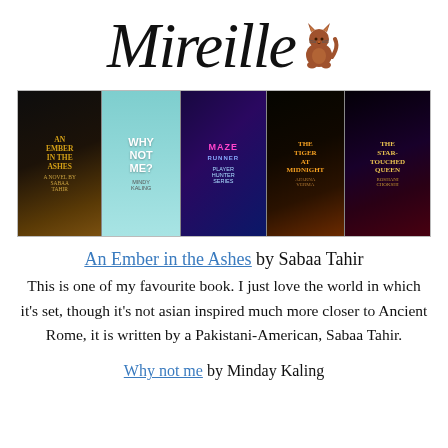Mireille (with cat logo)
[Figure (photo): Row of five book covers: An Ember in the Ashes by Sabaa Tahir, Why Not Me? by Mindy Kaling, Maze Runner / Player (colorful), The Tiger at Midnight, The Star-Touched Queen by Roshani Chokshi]
An Ember in the Ashes by Sabaa Tahir
This is one of my favourite book. I just love the world in which it's set, though it's not asian inspired much more closer to Ancient Rome, it is written by a Pakistani-American, Sabaa Tahir.
Why not me by Minday Kaling